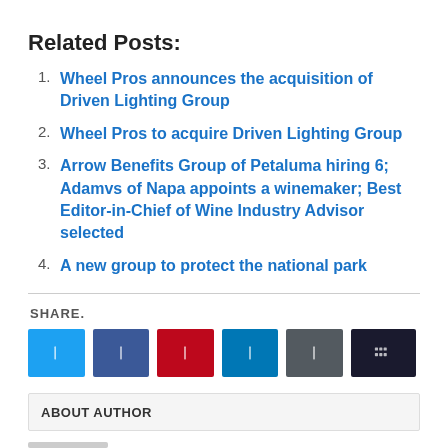Related Posts:
Wheel Pros announces the acquisition of Driven Lighting Group
Wheel Pros to acquire Driven Lighting Group
Arrow Benefits Group of Petaluma hiring 6; Adamvs of Napa appoints a winemaker; Best Editor-in-Chief of Wine Industry Advisor selected
A new group to protect the national park
SHARE.
[Figure (infographic): Six social share buttons: Twitter (light blue), Facebook (dark blue), Pinterest (red), LinkedIn (blue), Buffer (gray-blue), Print (dark/black) with icons]
ABOUT AUTHOR